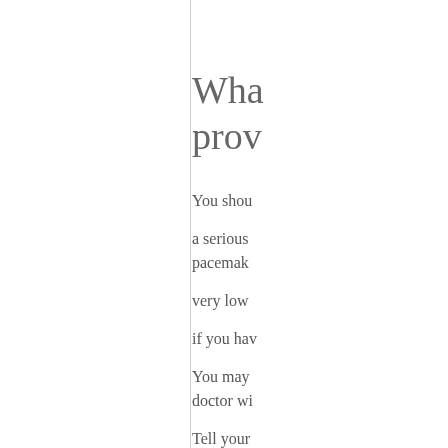Wha prov
You shou
a serious pacemal
very low
if you hav
You may doctor wi
Tell your
congestiv
low bloo
liver dise
kidney di